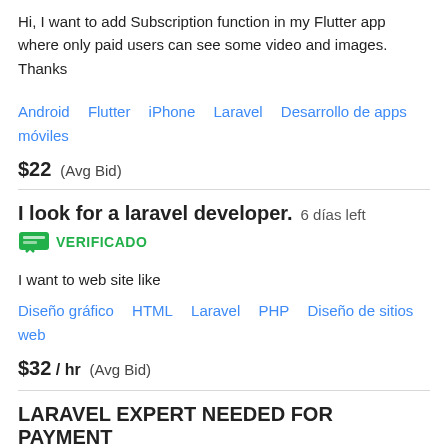Hi, I want to add Subscription function in my Flutter app where only paid users can see some video and images. Thanks
Android   Flutter   iPhone   Laravel   Desarrollo de apps móviles
$22  (Avg Bid)
I look for a laravel developer.   6 días left
VERIFICADO
I want to web site like
Diseño gráfico   HTML   Laravel   PHP   Diseño de sitios web
$32 / hr  (Avg Bid)
LARAVEL EXPERT NEEDED FOR PAYMENT